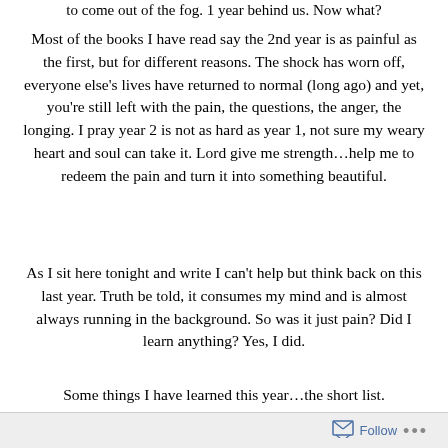to come out of the fog.  1 year behind us.  Now what?
Most of the books I have read say the 2nd year is as painful as the first, but for different reasons.  The shock has worn off, everyone else's lives have returned to normal (long ago) and yet, you're still left with the pain, the questions, the anger, the longing.  I pray year 2 is not as hard as year 1, not sure my weary heart and soul can take it.  Lord give me strength…help me to redeem the pain and turn it into something beautiful.
As I sit here tonight and write I can't help but think back on this last year. Truth be told, it consumes my mind and is almost always running in the background. So was it just pain? Did I learn anything? Yes, I did.
Some things I have learned this year…the short list.
Follow